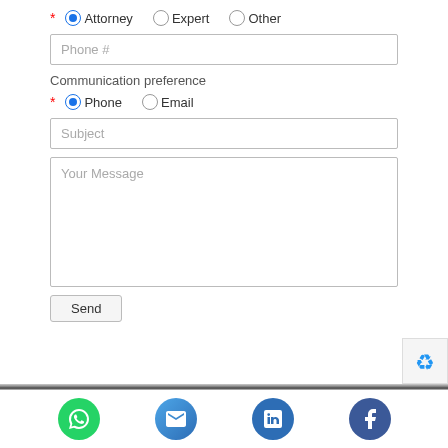* Attorney  Expert  Other
Phone #
Communication preference
* Phone  Email
Subject
Your Message
Send
[Figure (infographic): Footer with social media icons: WhatsApp (green), Email (blue gradient), LinkedIn (blue), Facebook (dark blue)]